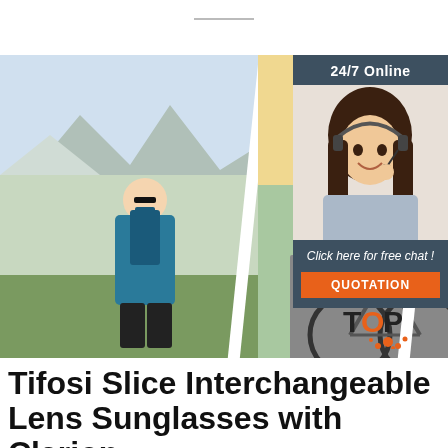[Figure (photo): Three panel sports photo: hiker woman in teal jacket with backpack in mountains, cyclist in black kit on road bike, person with trekking poles outdoors]
[Figure (photo): Customer service sidebar: dark header with 24/7 Online text, smiling woman with headset, Click here for free chat text, orange QUOTATION button]
[Figure (logo): TOP logo in red and orange with splatter graphic]
Tifosi Slice Interchangeable Lens Sunglasses with Clarion